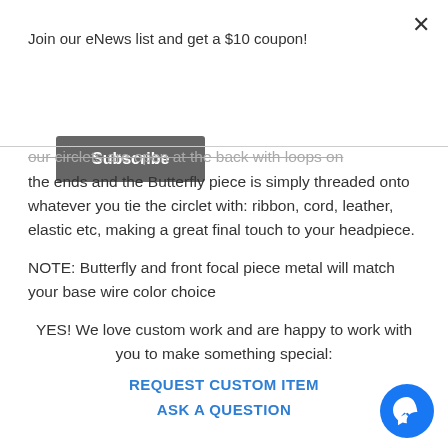Join our eNews list and get a $10 coupon!
Subscribe
our circlets are open at the back with loops on the ends and the Butterfly piece is simply threaded onto whatever you tie the circlet with: ribbon, cord, leather, elastic etc, making a great final touch to your headpiece.
NOTE: Butterfly and front focal piece metal will match your base wire color choice
YES! We love custom work and are happy to work with you to make something special:
REQUEST CUSTOM ITEM
ASK A QUESTION